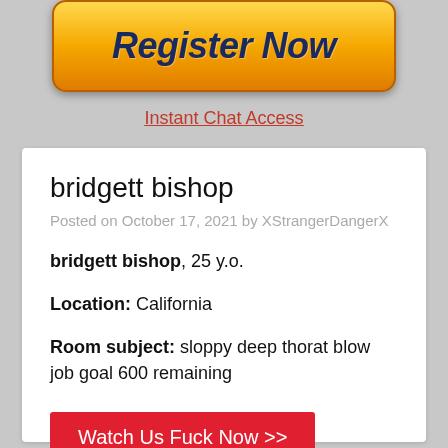[Figure (illustration): Orange gradient 'Register Now' button with dark blue bold italic text]
Instant Chat Access
bridgett bishop
Posted on October 17, 2021 by XStrangerDangerX
bridgett bishop, 25 y.o.
Location: California
Room subject: sloppy deep thorat blow job goal 600 remaining
Watch Us Fuck Now >>